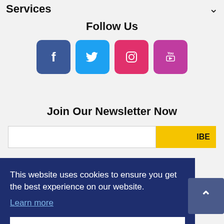Services
Follow Us
[Figure (illustration): Four social media icon buttons: Facebook (dark blue), Twitter (cyan), Instagram (red), YouTube (purple/magenta)]
Join Our Newsletter Now
SUBSCRIBE (email input and subscribe button)
This website uses cookies to ensure you get the best experience on our website. Learn more
Got it!